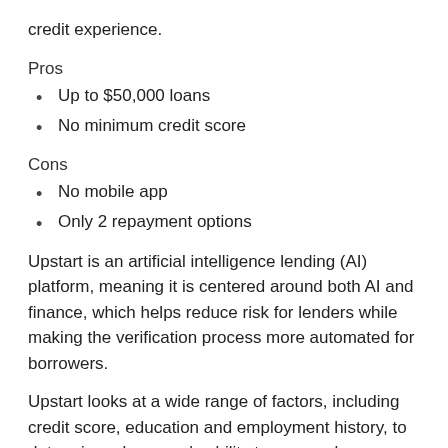credit experience.
Pros
Up to $50,000 loans
No minimum credit score
Cons
No mobile app
Only 2 repayment options
Upstart is an artificial intelligence lending (AI) platform, meaning it is centered around both AI and finance, which helps reduce risk for lenders while making the verification process more automated for borrowers.
Upstart looks at a wide range of factors, including credit score, education and employment history, to determine a borrower's ability to repay a loan.